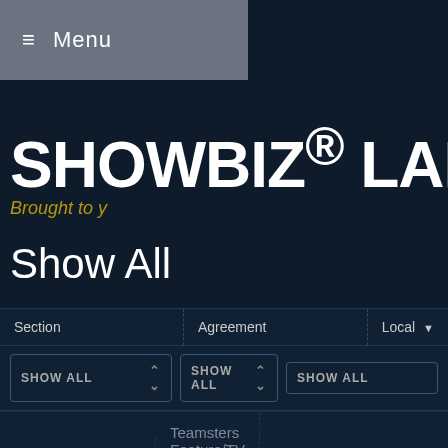≡ Menu
SHOWBIZ® LABO
Brought to y
Show All
| Section | Agreement | Local ▼ |
| --- | --- | --- |
| SHOW ALL | SHOW ALL | SHOW ALL |
| L.A. CREW | Teamsters Feature/TV - Los Angeles | Local 399 - Drivers |
| L.A. CREW | Teamsters Feature/TV - Los Angeles | Local 399 - Drivers |
| L.A. CREW | Teamsters Feature/TV - Los Angeles | Local 399 - Drivers |